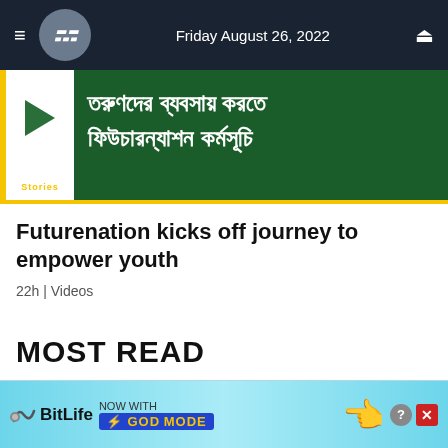Friday August 26, 2022
[Figure (screenshot): Video thumbnail with play button showing Bengali text on green background with yellow border, labeled Stories]
Futurenation kicks off journey to empower youth
22h | Videos
MOST READ
[Figure (other): Number 1 badge with downward arrow in grey, indicating most read ranking]
[Figure (screenshot): BitLife advertisement banner - NOW WITH GOD MODE]